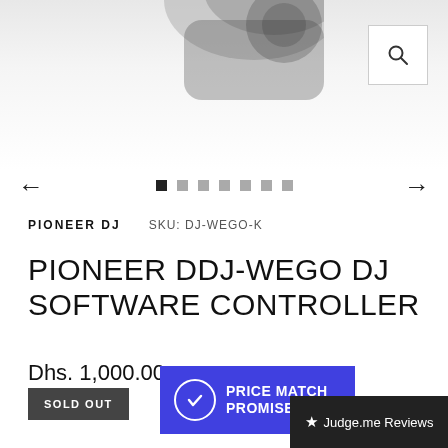[Figure (photo): Product image of Pioneer DDJ-WEGO DJ controller, dark device shown from above/angle, black and white/grayscale photo on white background. A magnify/search icon button in the top right corner. Navigation arrows left and right with pagination dots below.]
PIONEER DJ   SKU: DJ-WEGO-K
PIONEER DDJ-WEGO DJ SOFTWARE CONTROLLER
Dhs. 1,000.00
SOLD OUT
[Figure (infographic): Blue badge with checkmark circle and text PRICE MATCH PROMISE]
★ Judge.me Reviews